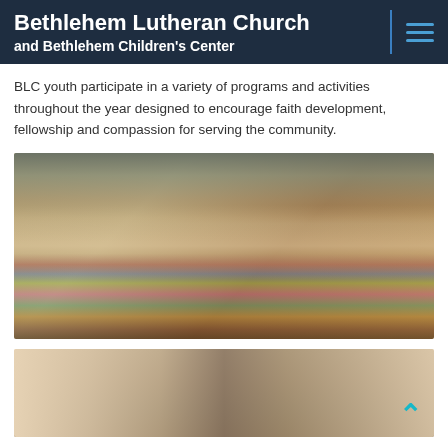Bethlehem Lutheran Church and Bethlehem Children's Center
BLC youth participate in a variety of programs and activities throughout the year designed to encourage faith development, fellowship and compassion for serving the community.
[Figure (photo): Group photo of five older women smiling behind a large pile of colorful fabric quilts/blankets inside a church or community hall.]
[Figure (photo): Partial view of architectural woodwork or interior ceiling/staircase with a teal/cyan upward-pointing chevron arrow in the lower right corner.]